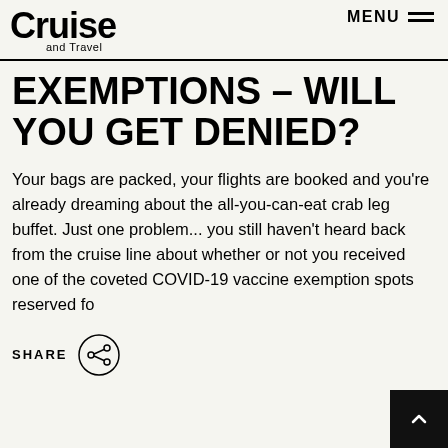Cruise and Travel | MENU
EXEMPTIONS – WILL YOU GET DENIED?
Your bags are packed, your flights are booked and you're already dreaming about the all-you-can-eat crab leg buffet. Just one problem... you still haven't heard back from the cruise line about whether or not you received one of the coveted COVID-19 vaccine exemption spots reserved fo
[Figure (other): Share icon button — circular icon with share/network symbol]